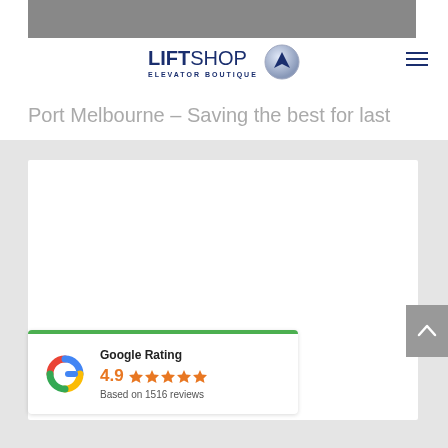LIFTSHOP ELEVATOR BOUTIQUE
Port Melbourne – Saving the best for last
[Figure (screenshot): White content area / blank card]
[Figure (infographic): Google Rating widget showing 4.9 stars based on 1516 reviews with Google G logo and green top border]